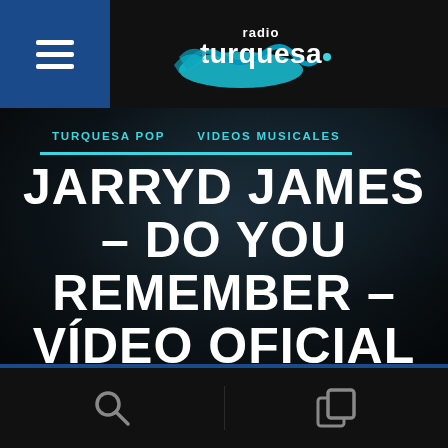Radio Turquesa
TURQUESA POP   VIDEOS MUSICALES
JARRYD JAMES – DO YOU REMEMBER – VÍDEO OFICIAL – LETRA
Search | Copy icons